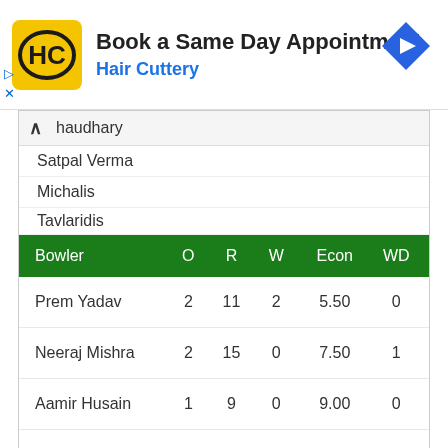[Figure (screenshot): Hair Cuttery advertisement banner with logo, 'Book a Same Day Appointment' heading, 'Hair Cuttery' subtext in blue, and a blue diamond navigation arrow icon on the right]
haudhary
Satpal Verma
Michalis
Tavlaridis
| Bowler | O | R | W | Econ | WD |
| --- | --- | --- | --- | --- | --- |
| Prem Yadav | 2 | 11 | 2 | 5.50 | 0 |
| Neeraj Mishra | 2 | 15 | 0 | 7.50 | 1 |
| Aamir Husain | 1 | 9 | 0 | 9.00 | 0 |
| Om Sharma | 1 | 10 | 0 | 10.00 | 0 |